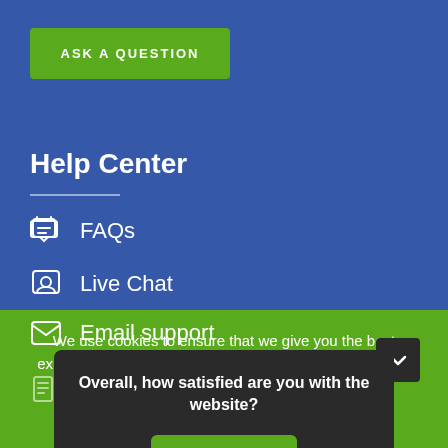ASK A QUESTION
Help Center
FAQs
Live Chat
Email support
Resource Library
We use cookies to ensure that we give you the best experience on our website. If you continue to use this site
Overall, how satisfied are you with the website?
Reply